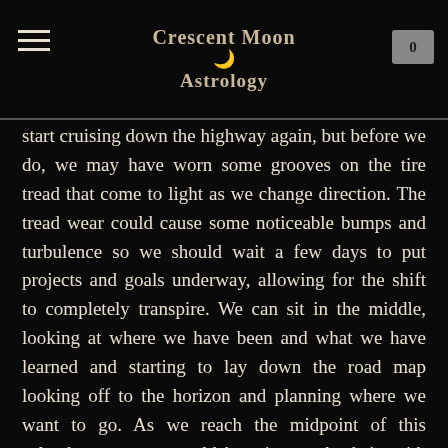Crescent Moon Astrology
start cruising down the highway again, but before we do, we may have worn some grooves on the tire tread that come to light as we change direction. The tread wear could cause some noticeable bumps and turbulence so we should wait a few days to put projects and goals underway, allowing for the shift to completely transpire. We can sit in the middle, looking at where we have been and what we have learned and starting to lay down the road map looking off to the horizon and planning where we want to go. As we reach the midpoint of this calendar year, we would be wise to check in with ourselves and those new year resolutions, aspirations, dreams, visions and goals. As we reach the midpoint of the year, we have been given the opportunity to check in with ourselves.
Mercury is in contact with the Moon's nodes, or the